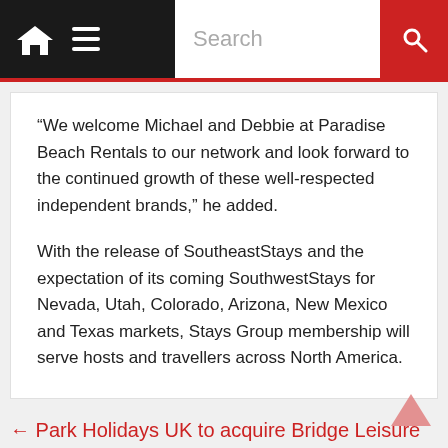Navigation bar with home icon, menu icon, search field, and search button
“We welcome Michael and Debbie at Paradise Beach Rentals to our network and look forward to the continued growth of these well-respected independent brands,” he added.
With the release of SoutheastStays and the expectation of its coming SouthwestStays for Nevada, Utah, Colorado, Arizona, New Mexico and Texas markets, Stays Group membership will serve hosts and travellers across North America.
← Park Holidays UK to acquire Bridge Leisure